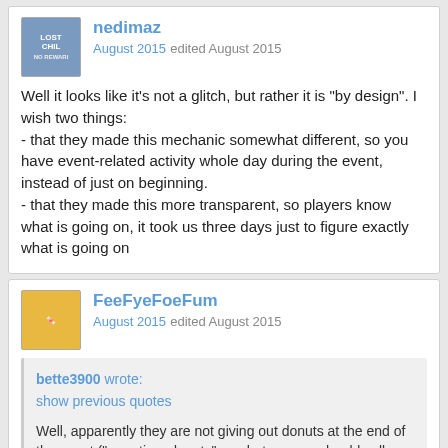nedimaz
August 2015 edited August 2015
Well it looks like it's not a glitch, but rather it is "by design". I wish two things:
- that they made this mechanic somewhat different, so you have event-related activity whole day during the event, instead of just on beginning.
- that they made this more transparent, so players know what is going on, it took us three days just to figure exactly what is going on
FeeFyeFoeFum
August 2015 edited August 2015
bette3900 wrote:
show previous quotes
Well, apparently they are not giving out donuts at the end of the event ("over-time donuts" or whatever we should call them), but extra tracks.